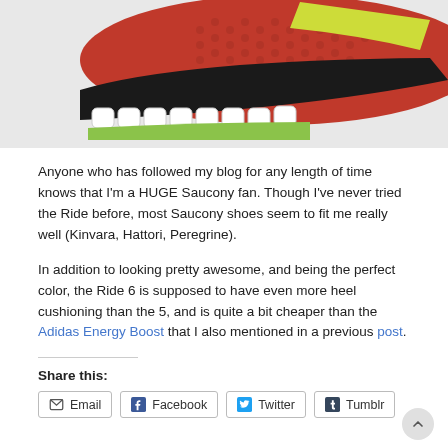[Figure (photo): Close-up photo of a red and black Saucony Ride 6 running shoe with white cushioning and green sole accents, cropped to show the front/toe area of the shoe against a white background.]
Anyone who has followed my blog for any length of time knows that I'm a HUGE Saucony fan. Though I've never tried the Ride before, most Saucony shoes seem to fit me really well (Kinvara, Hattori, Peregrine).
In addition to looking pretty awesome, and being the perfect color, the Ride 6 is supposed to have even more heel cushioning than the 5, and is quite a bit cheaper than the Adidas Energy Boost that I also mentioned in a previous post.
Share this: